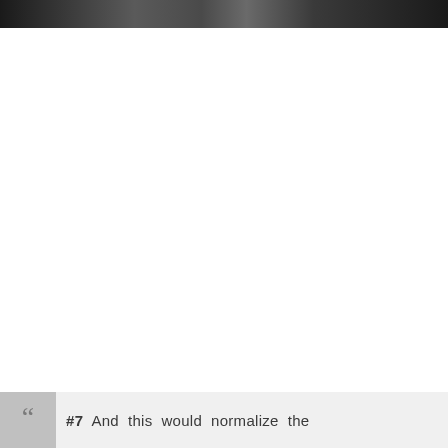[Figure (photo): A dark horizontal photo strip at the top of the page, appearing to be a cropped black and white photograph of people.]
““  #7  And  this  would  normalize  the